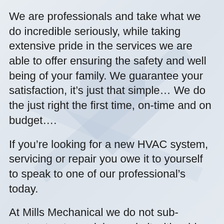We are professionals and take what we do incredible seriously, while taking extensive pride in the services we are able to offer ensuring the safety and well being of your family. We guarantee your satisfaction, it's just that simple… We do the just right the first time, on-time and on budget….
If you're looking for a new HVAC system, servicing or repair you owe it to yourself to speak to one of our professional's today.
At Mills Mechanical we do not sub-contract out your job, we do it with pride ourself with our own highly experience and qualified licensed and